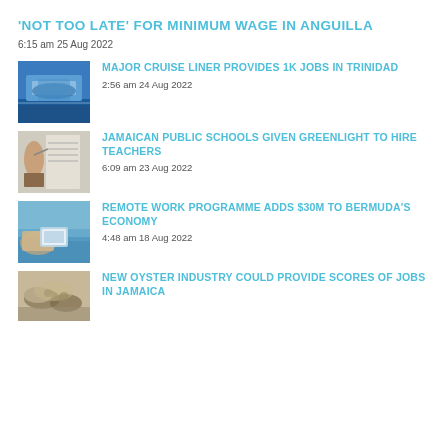'NOT TOO LATE' FOR MINIMUM WAGE IN ANGUILLA
6:15 am 25 Aug 2022
[Figure (photo): Aerial view of a large cruise ship docked at a port]
MAJOR CRUISE LINER PROVIDES 1K JOBS IN TRINIDAD
2:56 am 24 Aug 2022
[Figure (photo): Person pointing at a whiteboard in a classroom]
JAMAICAN PUBLIC SCHOOLS GIVEN GREENLIGHT TO HIRE TEACHERS
6:09 am 23 Aug 2022
[Figure (photo): Person working on a laptop by the beach]
REMOTE WORK PROGRAMME ADDS $30M TO BERMUDA'S ECONOMY
4:48 am 18 Aug 2022
[Figure (photo): Hands holding oysters]
NEW OYSTER INDUSTRY COULD PROVIDE SCORES OF JOBS IN JAMAICA